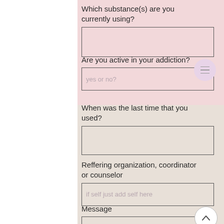Which substance(s) are you currently using?
Are you active in your addiction?
yes or no?
When was the last time that you used?
Reffering organization, coordinator or counselor
if self just add self here
Message
Please tell us a little about your